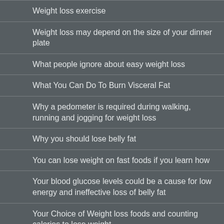Weight loss exercise
Weight loss may depend on the size of your dinner plate
What people ignore about easy weight loss
What You Can Do To Burn Visceral Fat
Why a pedometer is required during walking, running and jogging for weight loss
Why you should lose belly fat
You can lose weight on fast foods if you learn how
Your blood glucose levels could be a cause for low energy and ineffective loss of belly fat
Your Choice of Weight loss foods and counting calories to lose weight